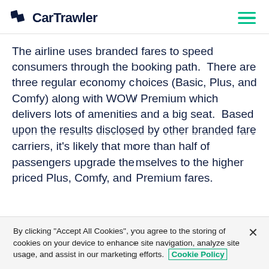CarTrawler
The airline uses branded fares to speed consumers through the booking path.  There are three regular economy choices (Basic, Plus, and Comfy) along with WOW Premium which delivers lots of amenities and a big seat.  Based upon the results disclosed by other branded fare carriers, it’s likely that more than half of passengers upgrade themselves to the higher priced Plus, Comfy, and Premium fares.
By clicking “Accept All Cookies”, you agree to the storing of cookies on your device to enhance site navigation, analyze site usage, and assist in our marketing efforts.  Cookie Policy